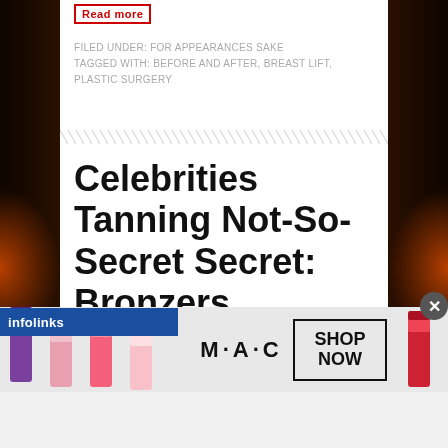Read more
FILED UNDER: FOR APPEARANCES SAKE
TAGGED WITH: BEFORE AND AFTER, BREAST LIFT, PLASTIC SURGERY
Celebrities Tanning Not-So-Secret Secret: Bronzers
BY DAVID
[Figure (other): infolinks advertising bar overlay with close button, and M·A·C cosmetics advertisement showing lipsticks with SHOP NOW button]